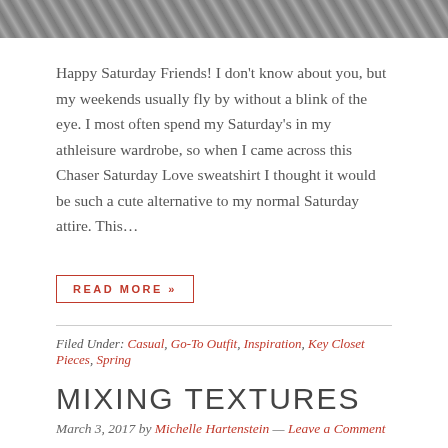[Figure (photo): Top portion of a photo showing gray/blue gravel or stone texture]
Happy Saturday Friends! I don't know about you, but my weekends usually fly by without a blink of the eye. I most often spend my Saturday's in my athleisure wardrobe, so when I came across this Chaser Saturday Love sweatshirt I thought it would be such a cute alternative to my normal Saturday attire. This...
READ MORE »
Filed Under: Casual, Go-To Outfit, Inspiration, Key Closet Pieces, Spring
MIXING TEXTURES
March 3, 2017 by Michelle Hartenstein — Leave a Comment
[Figure (photo): Bottom portion of a photo showing outdoor scene with trees and stone/gravel path]